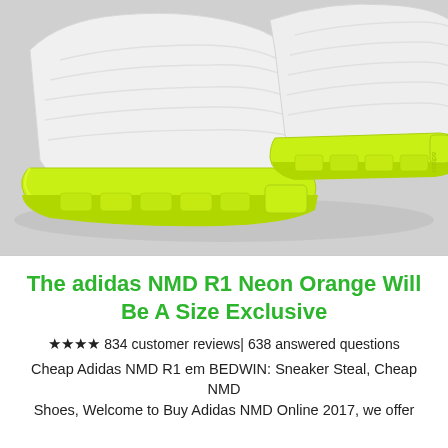[Figure (photo): Close-up photo of adidas NMD R1 sneakers with white knit upper and neon yellow-green sole/boost cushioning, shot against a light grey background]
The adidas NMD R1 Neon Orange Will Be A Size Exclusive
★★★★ 834 customer reviews| 638 answered questions
Cheap Adidas NMD R1 em BEDWIN: Sneaker Steal, Cheap NMD Shoes, Welcome to Buy Adidas NMD Online 2017, we offer